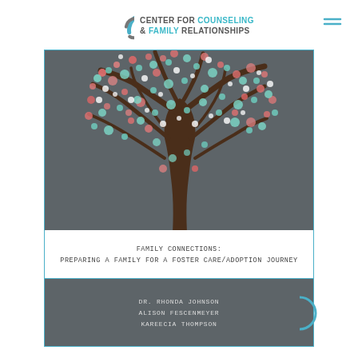CENTER FOR COUNSELING & FAMILY RELATIONSHIPS
[Figure (illustration): Book cover with gray background featuring a decorative tree illustration with colorful leaves (pink, green, white). Title reads: FAMILY CONNECTIONS: PREPARING A FAMILY FOR A FOSTER CARE/ADOPTION JOURNEY. Authors: DR. RHONDA JOHNSON, ALISON FESCENMEYER, KAREECIA THOMPSON. Published by Center for Counseling & Family Relationships.]